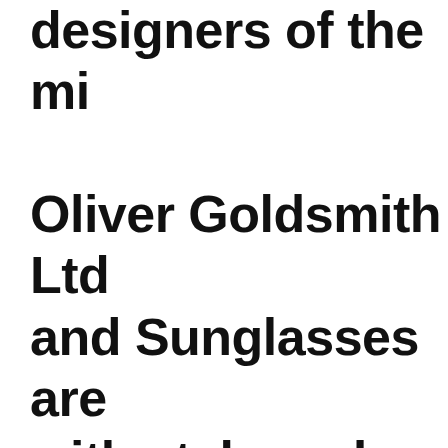designers of the mid Oliver Goldsmith Ltd and Sunglasses are with style and celeb their innovative des dedication to quality became trend setter half of the 20th C